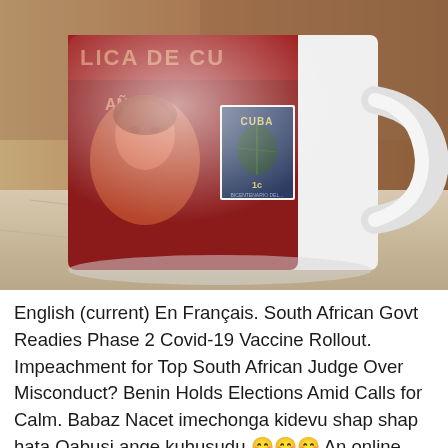[Figure (photo): A white ceramic mug with a red Cuba-themed stamp design showing a portrait and a blue postage stamp reading 'CUBA' and '1c', sitting on a marble surface with a warm brown blurred background.]
English (current) En Français. South African Govt Readies Phase 2 Covid-19 Vaccine Rollout. Impeachment for Top South African Judge Over Misconduct? Benin Holds Elections Amid Calls for Calm. Babaz Nacet imechonga kidevu shap shap hata Oabusi ange kuhusudu 😊😊😊 An online